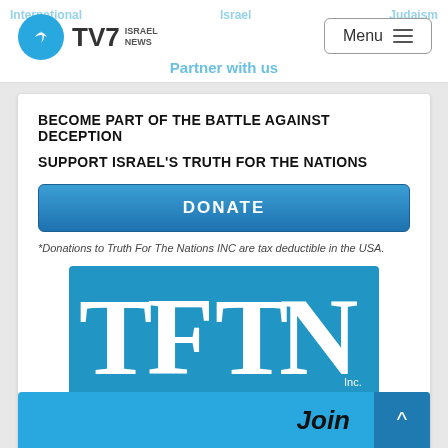TV7 Israel News — Partner with us
BECOME PART OF THE BATTLE AGAINST DECEPTION
SUPPORT ISRAEL'S TRUTH FOR THE NATIONS
DONATE
*Donations to Truth For The Nations INC are tax deductible in the USA.
[Figure (logo): TFTN - Truth For The Nations Inc. logo: white letters TFTN on blue background, with 'Truth For The Nations' in black below]
Join